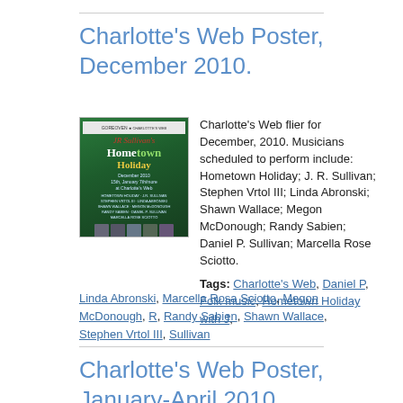Charlotte's Web Poster, December 2010.
[Figure (photo): Charlotte's Web flier/poster for December 2010 showing a green holiday-themed concert poster with JR Sullivan's Hometown Holiday title]
Charlotte's Web flier for December, 2010. Musicians scheduled to perform include: Hometown Holiday; J. R. Sullivan; Stephen Vrtol III; Linda Abronski; Shawn Wallace; Megon McDonough; Randy Sabien; Daniel P. Sullivan; Marcella Rose Sciotto.
Tags: Charlotte's Web, Daniel P, Folk music, Hometown Holiday with J, Linda Abronski, Marcella Rosa Sciotto, Megon McDonough, R, Randy Sabien, Shawn Wallace, Stephen Vrtol III, Sullivan
Charlotte's Web Poster, January-April 2010.